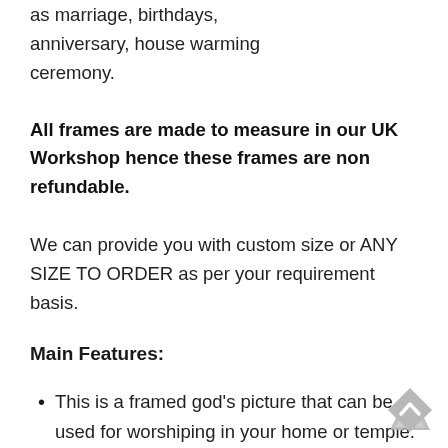as marriage, birthdays, anniversary, house warming ceremony.
All frames are made to measure in our UK Workshop hence these frames are non refundable.
We can provide you with custom size or ANY SIZE TO ORDER as per your requirement basis.
Main Features:
This is a framed god's picture that can be used for worshiping in your home or temple.
This is one of the most popular 30ll...